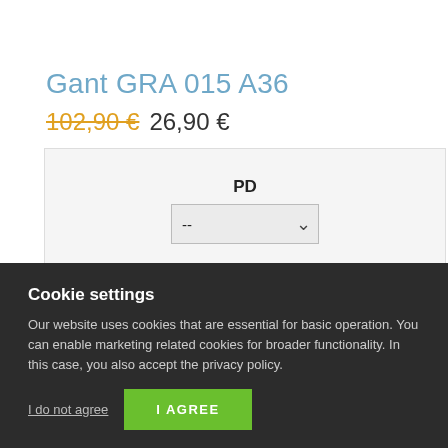Gant GRA 015 A36
102,90 € 26,90 €
PD
--
PWR Right Eye
--
PWR Left Eye
Les informations sur la disponibilité seront affichées après
Cookie settings
Our website uses cookies that are essential for basic operation. You can enable marketing related cookies for broader functionality. In this case, you also accept the privacy policy.
I do not agree
I AGREE